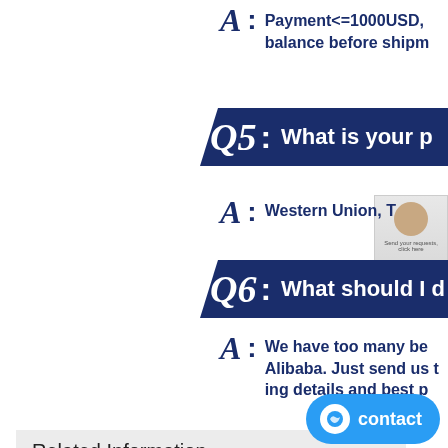A: Payment<=1000USD, balance before shipment
Q5: What is your p
A: Western Union, T
Q6: What should I d
A: We have too many be Alibaba. Just send us t ing details and best p
Related Information
In-Depth: Timken vs SKF vs Moog Comparison Wheel Bearing
In this post_ I'll talk only about the highest